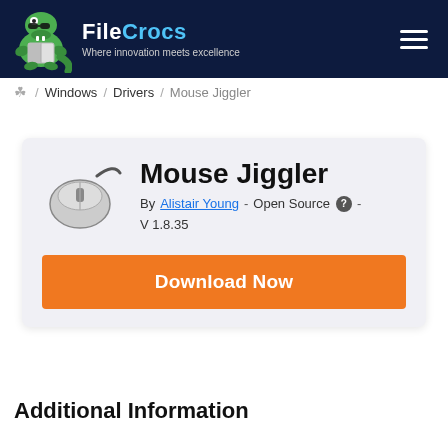FileCrocs — Where innovation meets excellence
/ Windows / Drivers / Mouse Jiggler
Mouse Jiggler
By Alistair Young - Open Source - V 1.8.35
Download Now
Additional Information